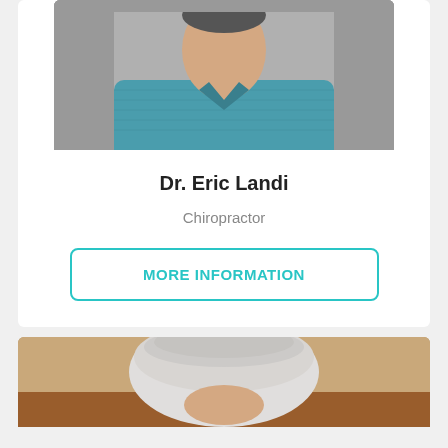[Figure (photo): Photo of Dr. Eric Landi wearing a blue heathered polo shirt, upper body portrait against neutral background]
Dr. Eric Landi
Chiropractor
MORE INFORMATION
[Figure (photo): Partial photo of an older person with white/grey hair, seated in what appears to be an office setting]